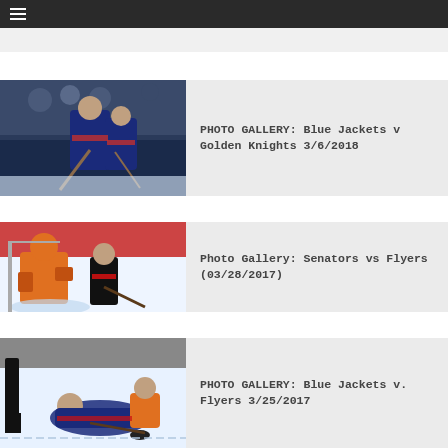☰ (menu)
[Figure (photo): Partial hockey game photo - top card clipped, Flyers (03/12/2018)]
Flyers (03/12/2018)
[Figure (photo): Hockey players celebrating - Blue Jackets players hugging]
PHOTO GALLERY: Blue Jackets v Golden Knights 3/6/2018
[Figure (photo): Hockey goalie making save - Senators vs Flyers game]
Photo Gallery: Senators vs Flyers (03/28/2017)
[Figure (photo): Hockey players scrambling for puck - Blue Jackets v Flyers]
PHOTO GALLERY: Blue Jackets v. Flyers 3/25/2017